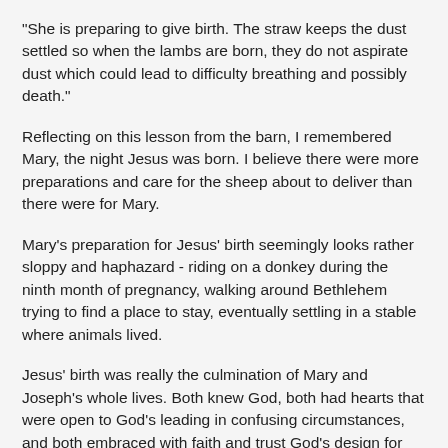"She is preparing to give birth. The straw keeps the dust settled so when the lambs are born, they do not aspirate dust which could lead to difficulty breathing and possibly death."
Reflecting on this lesson from the barn, I remembered Mary, the night Jesus was born. I believe there were more preparations and care for the sheep about to deliver than there were for Mary.
Mary's preparation for Jesus' birth seemingly looks rather sloppy and haphazard - riding on a donkey during the ninth month of pregnancy, walking around Bethlehem trying to find a place to stay, eventually settling in a stable where animals lived.
Jesus' birth was really the culmination of Mary and Joseph's whole lives. Both knew God, both had hearts that were open to God's leading in confusing circumstances, and both embraced with faith and trust God's design for their lives. Jesus' birth was not completely a beginning, but an ending